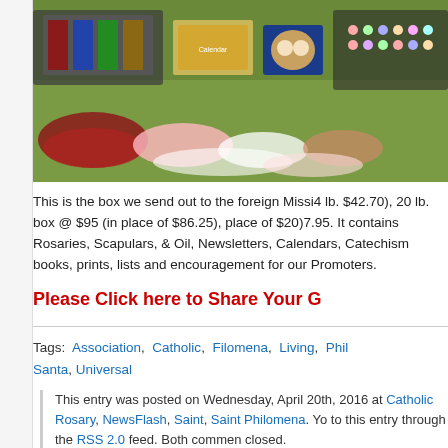[Figure (photo): Photo of a table display with rosaries, religious items, books, calendars and other Catholic mission items spread on grass at an outdoor event.]
This is the box we send out to the foreign Missi4 lb. $42.70), 20 lb. box @ $95 (in place of $86.25), place of $20)7.95. It contains Rosaries, Scapulars, & Oil, Newsletters, Calendars, Catechism books, prints, lists and encouragement for our Promoters.
Please Click here to Share Your G
Tags:  Association,  Catholic,  Filomena,  Living,  Phil,  Santa,  Universal
This entry was posted on Wednesday, April 20th, 2016 at Catholic Rosary, NewsFlash, Saint, Saint Philomena. You to this entry through the RSS 2.0 feed. Both commen closed.